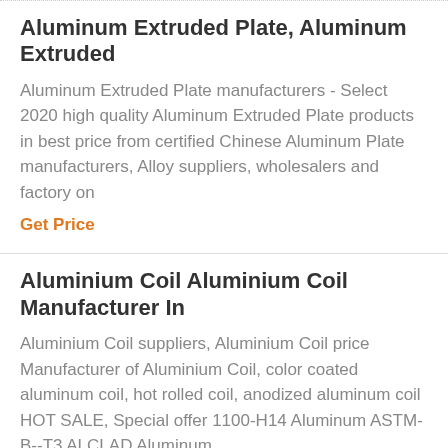Aluminum Extruded Plate, Aluminum Extruded
Aluminum Extruded Plate manufacturers - Select 2020 high quality Aluminum Extruded Plate products in best price from certified Chinese Aluminum Plate manufacturers, Alloy suppliers, wholesalers and factory on
Get Price
Aluminium Coil Aluminium Coil Manufacturer In
Aluminium Coil suppliers, Aluminium Coil price Manufacturer of Aluminium Coil, color coated aluminum coil, hot rolled coil, anodized aluminum coil HOT SALE, Special offer 1100-H14 Aluminum ASTM-B--T3 ALCLAD Aluminum
Get Price
3003 Aluminium Tubing ASTM B